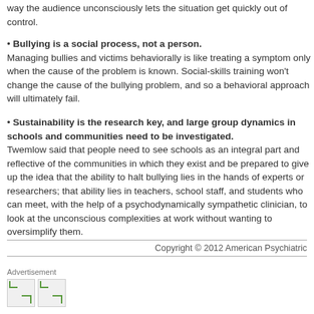way the audience unconsciously lets the situation get quickly out of control.
Bullying is a social process, not a person. Managing bullies and victims behaviorally is like treating a symptom only when the cause of the problem is known. Social-skills training won't change the cause of the bullying problem, and so a behavioral approach will ultimately fail.
Sustainability is the research key, and large group dynamics in schools and communities need to be investigated. Twemlow said that people need to see schools as an integral part and reflective of the communities in which they exist and be prepared to give up the idea that the ability to halt bullying lies in the hands of experts or researchers; that ability lies in teachers, school staff, and students who can meet, with the help of a psychodynamically sympathetic clinician, to look at the unconscious complexities at work without wanting to oversimplify them.
Copyright © 2012 American Psychiatric
Advertisement